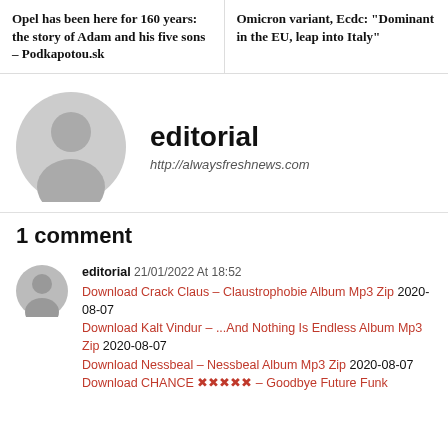Opel has been here for 160 years: the story of Adam and his five sons – Podkapotou.sk
Omicron variant, Ecdc: “Dominant in the EU, leap into Italy”
[Figure (illustration): Large grey circular avatar/profile placeholder icon]
editorial
http://alwaysfreshnews.com
1 comment
[Figure (illustration): Small grey circular avatar/profile placeholder icon]
editorial 21/01/2022 At 18:52 Download Crack Claus – Claustrophobie Album Mp3 Zip 2020-08-07 Download Kalt Vindur – ...And Nothing Is Endless Album Mp3 Zip 2020-08-07 Download Nessbeal – Nessbeal Album Mp3 Zip 2020-08-07 Download CHANCE ❎❎❎❎❎ – Goodbye Future Funk